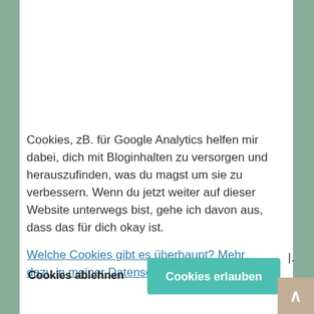Cookies, zB. für Google Analytics helfen mir dabei, dich mit Bloginhalten zu versorgen und herauszufinden, was du magst um sie zu verbessern. Wenn du jetzt weiter auf dieser Website unterwegs bist, gehe ich davon aus, dass das für dich okay ist.
Welche Cookies gibt es überhaupt? Mehr dazu in meiner Datenschutz-Erklärung
Cookies ablehnen
Cookies erlauben